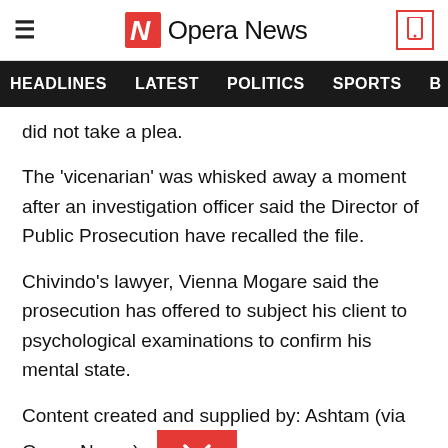Opera News
HEADLINES  LATEST  POLITICS  SPORTS
did not take a plea.
The 'vicenarian' was whisked away a moment after an investigation officer said the Director of Public Prosecution have recalled the file.
Chivindo's lawyer, Vienna Mogare said the prosecution has offered to subject his client to psychological examinations to confirm his mental state.
Content created and supplied by: Ashtam (via Opera News )